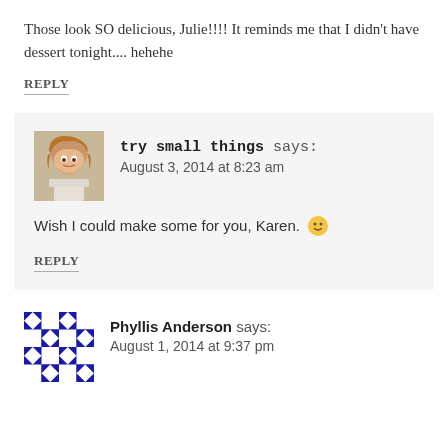Those look SO delicious, Julie!!!! It reminds me that I didn't have dessert tonight.... hehehe
REPLY
[Figure (photo): Profile photo of 'try small things' - woman with long blonde hair]
try small things says: August 3, 2014 at 8:23 am
Wish I could make some for you, Karen. 🙂
REPLY
[Figure (photo): Avatar of Phyllis Anderson - blue and white geometric pattern]
Phyllis Anderson says: August 1, 2014 at 9:37 pm